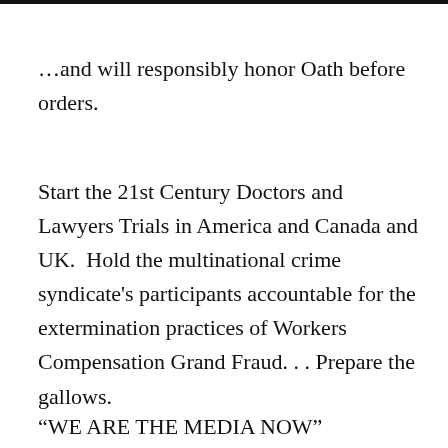…and will responsibly honor Oath before orders.
Start the 21st Century Doctors and Lawyers Trials in America and Canada and UK.  Hold the multinational crime syndicate's participants accountable for the extermination practices of Workers Compensation Grand Fraud. . . Prepare the gallows.
“WE ARE THE MEDIA NOW”